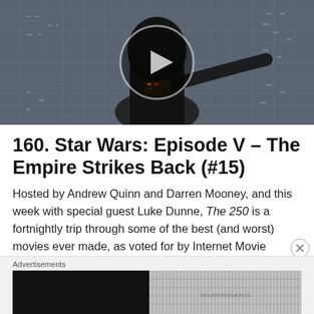[Figure (photo): Hero image of Darth Vader from Star Wars: The Empire Strikes Back, with a circular play button overlay in the center]
160. Star Wars: Episode V – The Empire Strikes Back (#15)
Hosted by Andrew Quinn and Darren Mooney, and this week with special guest Luke Dunne, The 250 is a fortnightly trip through some of the best (and worst) movies ever made, as voted for by Internet Movie
Advertisements